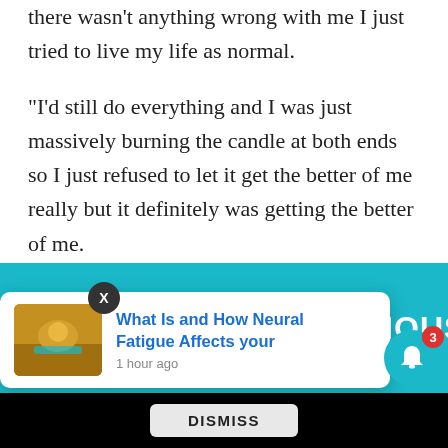there wasn't anything wrong with me I just tried to live my life as normal.
“I’d still do everything and I was just massively burning the candle at both ends so I just refused to let it get the better of me really but it definitely was getting the better of me.
“I was so completely worn out all the time. I was still at school at this point and I just used to sleep all day at school – every single lesson I’d sleep.
“My friends joke about it now but I don’t really know
[Figure (screenshot): Notification popup overlay showing 'What Is and How Neural Fatigue Affects your' with timestamp '1 hour ago', thumbnail of swimmer, and a teal banner with text 'HOUSAND?' visible. A dismiss button and bell icon with badge '3' are also shown.]